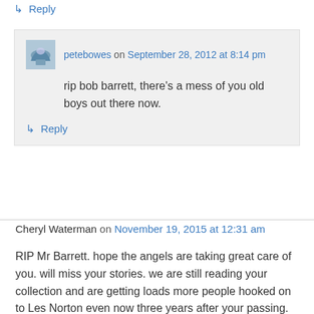↳ Reply
petebowes on September 28, 2012 at 8:14 pm
rip bob barrett, there's a mess of you old boys out there now.
↳ Reply
Cheryl Waterman on November 19, 2015 at 12:31 am
RIP Mr Barrett. hope the angels are taking great care of you. will miss your stories. we are still reading your collection and are getting loads more people hooked on to Les Norton even now three years after your passing. you get us hooked in and we love listening to the audio